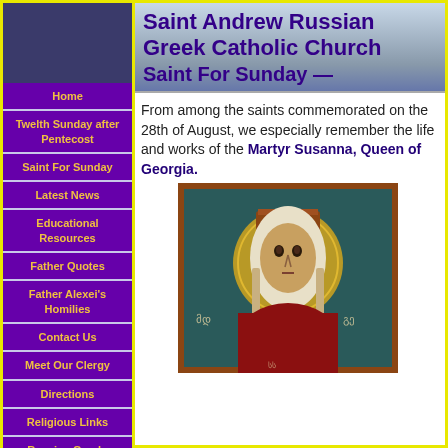[Figure (illustration): Dark blue/navy rectangle logo placeholder for Saint Andrew Russian Greek Catholic Church]
Saint Andrew Russian Greek Catholic Church
Saint For Sunday —
Home
Twelth Sunday after Pentecost
Saint For Sunday
Latest News
Educational Resources
Father Quotes
Father Alexei's Homilies
Contact Us
Meet Our Clergy
Directions
Religious Links
Russian Greek-Catholic Church
From among the saints commemorated on the 28th of August, we especially remember the life and works of the Martyr Susanna, Queen of Georgia.
[Figure (illustration): Icon painting of Saint Susanna, Queen of Georgia, depicted as a Byzantine-style icon with crown and halo on a teal/dark background with Georgian script]